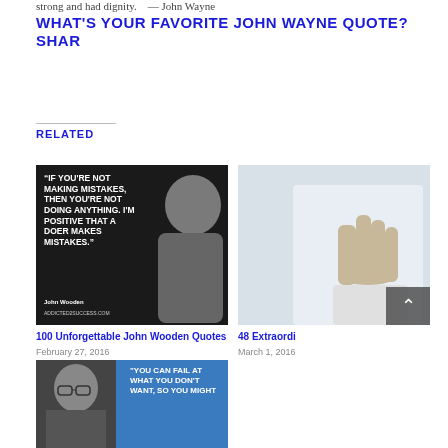strong and had dignity. — John Wayne
WHAT'S YOUR FAVORITE JOHN WAYNE QUOTE? SHAR
RELATED
[Figure (photo): Black and white image of John Wooden with quote: 'If you're not making mistakes, then you're not doing anything. I'm positive that a doer makes mistakes.' - John Wooden, ADDICTED2SUCCESS.COM]
100 Unforgettable John Wooden Quotes
February 27, 2016
[Figure (photo): Partial image of a person with hand raised, with scroll-to-top button overlay]
48 Extraordi
March 1, 2016
[Figure (photo): Image with man's face on left and blue background with quote: 'YOU CAN FAIL AT WHAT YOU DON'T WANT, SO YOU MIGHT']